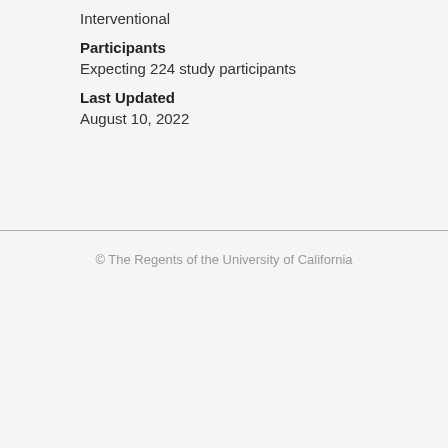Interventional
Participants
Expecting 224 study participants
Last Updated
August 10, 2022
© The Regents of the University of California